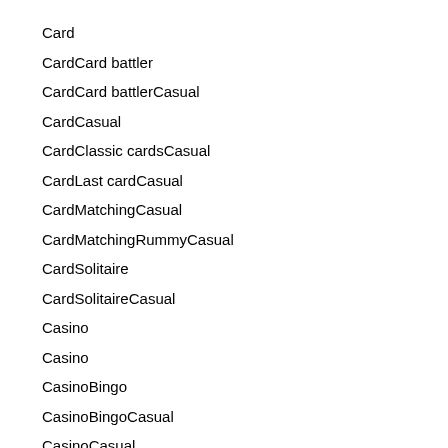Card
CardCard battler
CardCard battlerCasual
CardCasual
CardClassic cardsCasual
CardLast cardCasual
CardMatchingCasual
CardMatchingRummyCasual
CardSolitaire
CardSolitaireCasual
Casino
Casino
CasinoBingo
CasinoBingoCasual
CasinoCasual